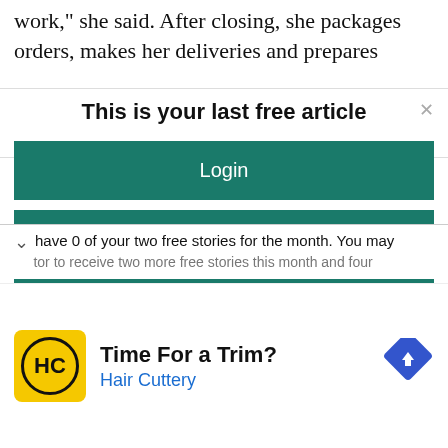work," she said. After closing, she packages orders, makes her deliveries and prepares
This is your last free article
Login
Subscribe
Register
have 0 of your two free stories for the month. You may
tor to receive two more free stories this month and four
[Figure (screenshot): Advertisement banner for Hair Cuttery with yellow logo showing HC initials, text 'Time For a Trim?' and 'Hair Cuttery', with a blue diamond navigation arrow icon.]